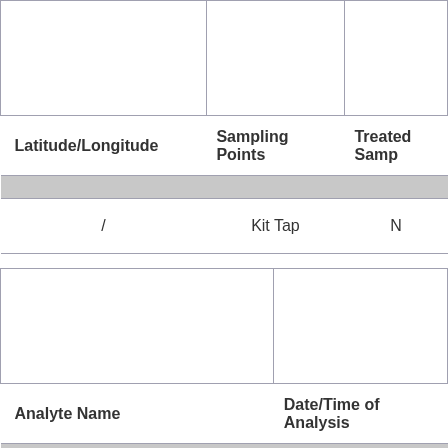| Latitude/Longitude | Sampling Points | Treated Samp |
| --- | --- | --- |
|  |  |  |
| / | Kit Tap | N |
|  |  |  |
| Analyte Name | Date/Time of Analysis |
| --- | --- |